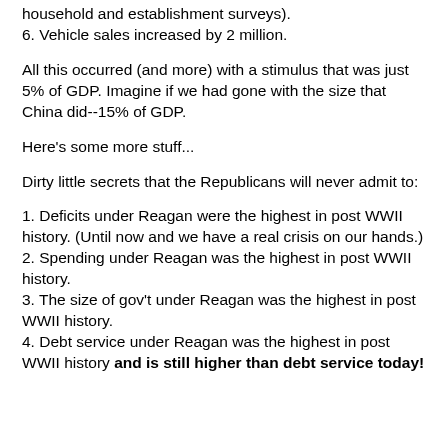household and establishment surveys).
6. Vehicle sales increased by 2 million.
All this occurred (and more) with a stimulus that was just 5% of GDP. Imagine if we had gone with the size that China did--15% of GDP.
Here's some more stuff...
Dirty little secrets that the Republicans will never admit to:
1. Deficits under Reagan were the highest in post WWII history. (Until now and we have a real crisis on our hands.)
2. Spending under Reagan was the highest in post WWII history.
3. The size of gov't under Reagan was the highest in post WWII history.
4. Debt service under Reagan was the highest in post WWII history and is still higher than debt service today!